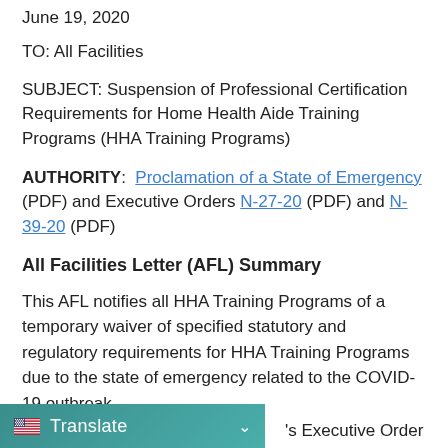June 19, 2020
TO: All Facilities
SUBJECT: Suspension of Professional Certification Requirements for Home Health Aide Training Programs (HHA Training Programs)
AUTHORITY: Proclamation of a State of Emergency (PDF) and Executive Orders N-27-20 (PDF) and N-39-20 (PDF)
All Facilities Letter (AFL) Summary
This AFL notifies all HHA Training Programs of a temporary waiver of specified statutory and regulatory requirements for HHA Training Programs due to the state of emergency related to the COVID-19 outbreak.
's Executive Order N-39-